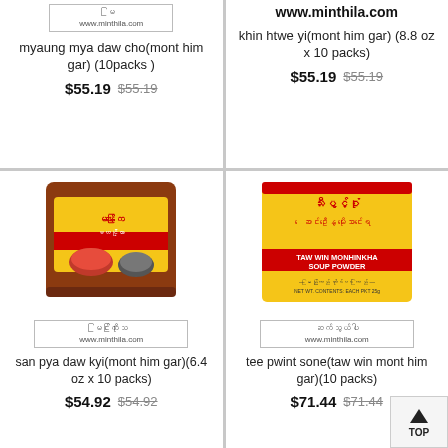[Figure (photo): Top-left product card showing minthila.com logo label and product listing for myaung mya daw cho mont him gar]
myaung mya daw cho(mont him gar) (10packs )
$55.19 $55.19
[Figure (photo): Top-right product card showing www.minthila.com URL and product listing for khin htwe yi mont him gar]
www.minthila.com
khin htwe yi(mont him gar) (8.8 oz x 10 packs)
$55.19 $55.19
[Figure (photo): Bottom-left product card with photo of san pya daw kyi mont him gar package (brown bag with food imagery) and minthila.com label]
san pya daw kyi(mont him gar)(6.4 oz x 10 packs)
$54.92 $54.92
[Figure (photo): Bottom-right product card with photo of tee pwint sone taw win mont him gar yellow soup powder package and minthila.com label]
tee pwint sone(taw win mont him gar)(10 packs)
$71.44 $71.44